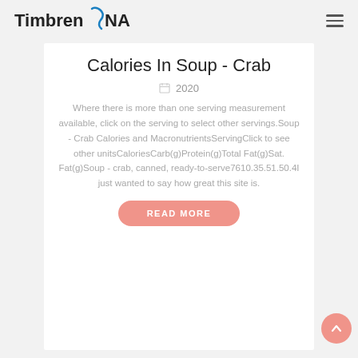[Figure (logo): Timbren NANO logo with stylized S curve]
Calories In Soup - Crab
2020
Where there is more than one serving measurement available, click on the serving to select other servings.Soup - Crab Calories and MacronutrientsServingClick to see other unitsCaloriesCarb(g)Protein(g)Total Fat(g)Sat. Fat(g)Soup - crab, canned, ready-to-serve7610.35.51.50.4I just wanted to say how great this site is.
READ MORE